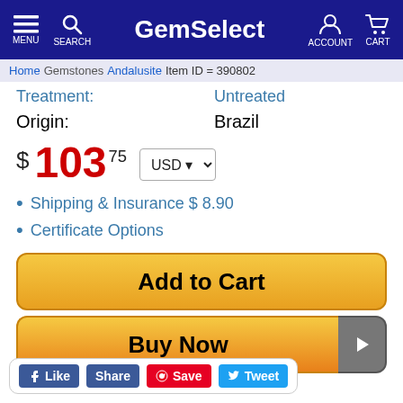GemSelect — MENU SEARCH ACCOUNT CART
Home > Gemstones > Andalusite  Item ID = 390802
Treatment: Untreated
Origin: Brazil
$ 103.75  USD
Shipping & Insurance $ 8.90
Certificate Options
Add to Cart
Buy Now
Like  Share  Save  Tweet